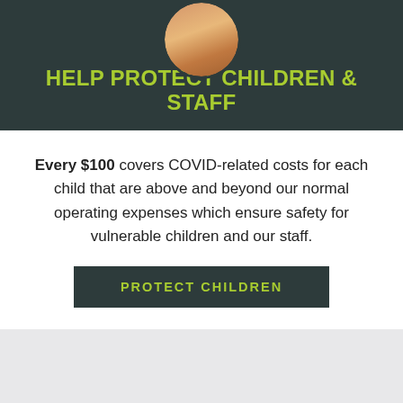[Figure (photo): Circular cropped photo of a child/person at the top of the dark header section]
HELP PROTECT CHILDREN & STAFF
Every $100 covers COVID-related costs for each child that are above and beyond our normal operating expenses which ensure safety for vulnerable children and our staff.
PROTECT CHILDREN
[Figure (illustration): Gray section divider area]
[Figure (illustration): Accessibility icon (person in circle) on green footer bar]
Add impact to your inbox. Get stories